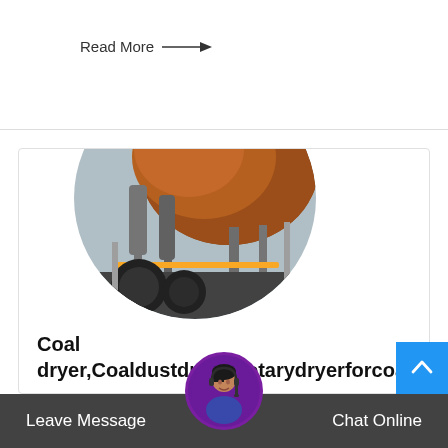Read More →
[Figure (photo): Large industrial rotary coal dryer/kiln machine, rust-colored cylindrical drum with supporting structure, shown in circular crop]
Coal dryer,Coaldustdryer,Rotarydryerforcoalslim
Coal dryercan dry many different raw materials contain moisture, such as coal dust,coal,coalslurry, slag, dregs, fertilizer and other waste.
Leave Message
Chat Online